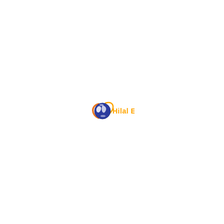[Figure (logo): Hilal Enerji company logo: a blue globe with white continents and an orange crescent/ring swoosh arc around it, followed by the text 'Hilal Enerji' in orange/amber bold font.]